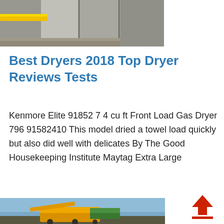[Figure (photo): Construction site photo showing concrete blocks/walls with a yellow beam or bar element on the left side]
Best Dryers 2018 Top Dryer Reviews Tests
Kenmore Elite 91852 7 4 cu ft Front Load Gas Dryer 796 91582410 This model dried a towel load quickly but also did well with delicates By The Good Housekeeping Institute Maytag Extra Large
[Figure (photo): Construction or industrial equipment photo at the bottom, showing yellow machinery against a blue sky background]
[Figure (other): Red upload/share arrow icon in bottom right corner]